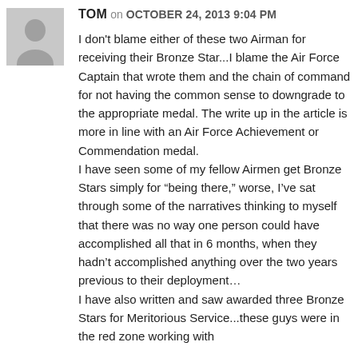[Figure (illustration): Gray avatar/profile placeholder image of a person silhouette]
TOM on OCTOBER 24, 2013 9:04 PM
I don't blame either of these two Airman for receiving their Bronze Star...I blame the Air Force Captain that wrote them and the chain of command for not having the common sense to downgrade to the appropriate medal. The write up in the article is more in line with an Air Force Achievement or Commendation medal.
I have seen some of my fellow Airmen get Bronze Stars simply for "being there," worse, I've sat through some of the narratives thinking to myself that there was no way one person could have accomplished all that in 6 months, when they hadn't accomplished anything over the two years previous to their deployment...
I have also written and saw awarded three Bronze Stars for Meritorious Service...these guys were in the red zone working with